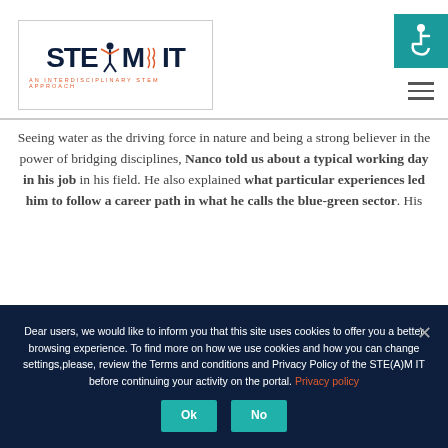[Figure (logo): STEAM IT logo — AN INTERDISCIPLINARY STEM APPROACH, with a stylized human figure with outstretched arms forming the letter A, inside a rectangular border]
Seeing water as the driving force in nature and being a strong believer in the power of bridging disciplines, Nanco told us about a typical working day in his job in his field. He also explained what particular experiences led him to follow a career path in what he calls the blue-green sector. His ...
Dear users, we would like to inform you that this site uses cookies to offer you a better browsing experience. To find more on how we use cookies and how you can change settings,please, review the Terms and conditions and Privacy Policy of the STE(A)M IT before continuing your activity on the portal. Privacy policy